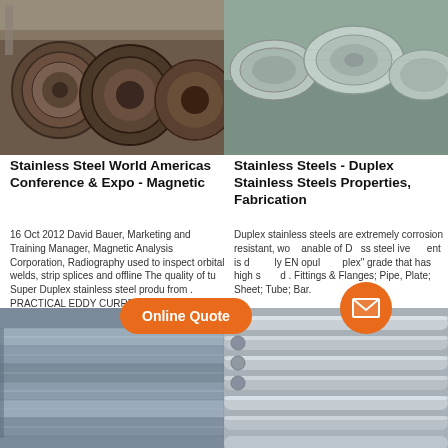[Figure (photo): Steel coils stacked in a warehouse/industrial facility]
[Figure (photo): Galvanized wire coils / steel wire bundles]
Stainless Steel World Americas Conference & Expo - Magnetic
16 Oct 2012 David Bauer, Marketing and Training Manager, Magnetic Analysis Corporation, Radiography used to inspect orbital welds, strip splices and offline The quality of tu Super Duplex stainless steel produ from . PRACTICAL EDDY CURRENT TESTING OF SUPER DUPLEX STAINLESS TUBE
Stainless Steels - Duplex Stainless Steels Properties, Fabrication
Duplex stainless steels are extremely corrosion resistant, wo able of D ss steel ive ent is d ly EN opul plex grade that has high s d . Fittings & Flanges; Pipe, Plate; Sheet; Tube; Bar.
[Figure (photo): Stainless steel flat bars / plates stacked in industrial setting]
[Figure (photo): Stainless steel round bars/rods bundled together]